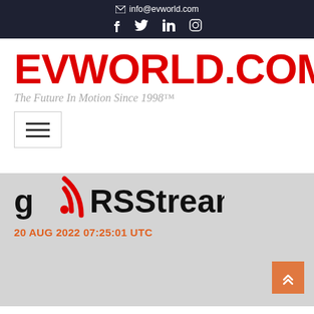info@evworld.com
EVWORLD.COM
The Future In Motion Since 1998™
[Figure (illustration): Hamburger menu button icon with three horizontal lines inside a bordered square]
[Figure (logo): gRSSStream logo with RSS signal icon in red]
20 AUG 2022 07:25:01 UTC